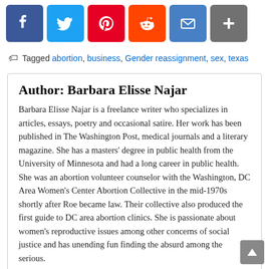[Figure (other): Social sharing buttons row: Facebook (blue), Twitter (light blue), Pinterest (red), Reddit (orange-red), Email (blue), Share (gray)]
Tagged abortion, business, Gender reassignment, sex, texas
Author: Barbara Elisse Najar
Barbara Elisse Najar is a freelance writer who specializes in articles, essays, poetry and occasional satire. Her work has been published in The Washington Post, medical journals and a literary magazine. She has a masters' degree in public health from the University of Minnesota and had a long career in public health. She was an abortion volunteer counselor with the Washington, DC Area Women's Center Abortion Collective in the mid-1970s shortly after Roe became law. Their collective also produced the first guide to DC area abortion clinics. She is passionate about women's reproductive issues among other concerns of social justice and has unending fun finding the absurd among the serious.